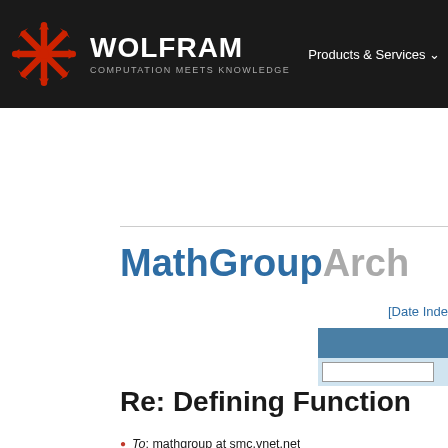WOLFRAM COMPUTATION MEETS KNOWLEDGE | Products & Services
MathGroup Archive
[Date Index]
Re: Defining Function
To: mathgroup at smc.vnet.net
Subject: [mg90554] Re: [mg90498] Defining
From: Bob Hanlon <hanlon at cox.net>